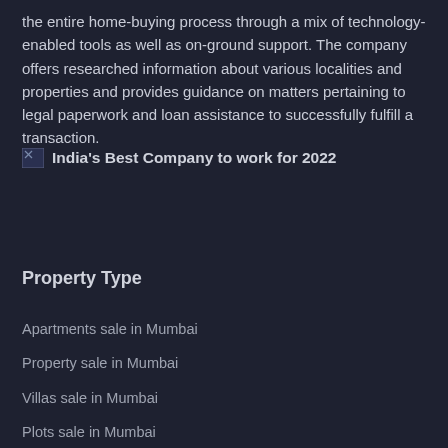the entire home-buying process through a mix of technology-enabled tools as well as on-ground support. The company offers researched information about various localities and properties and provides guidance on matters pertaining to legal paperwork and loan assistance to successfully fulfill a transaction.
India's Best Company to work for 2022
Property Type
Apartments sale in Mumbai
Property sale in Mumbai
Villas sale in Mumbai
Plots sale in Mumbai
New apartments for sale in Mumbai